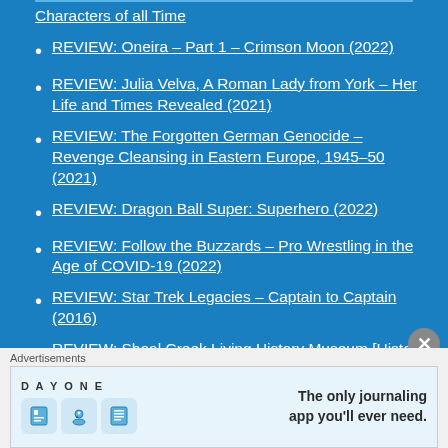Characters of all Time
REVIEW: Oneira – Part 1 – Crimson Moon (2022)
REVIEW: Julia Velva, A Roman Lady from York – Her Life and Times Revealed (2021)
REVIEW: The Forgotten German Genocide – Revenge Cleansing in Eastern Europe, 1945–50 (2021)
REVIEW: Dragon Ball Super: Superhero (2022)
REVIEW: Follow the Buzzards – Pro Wrestling in the Age of COVID-19 (2022)
REVIEW: Star Trek Legacies – Captain to Captain (2016)
REVIEW: Shoal Creek Living History Museum [History Tour]
REVIEW: The Liberty Bell 7 at Planet
Advertisements
[Figure (screenshot): Day One journaling app advertisement banner with text 'The only journaling app you'll ever need.']